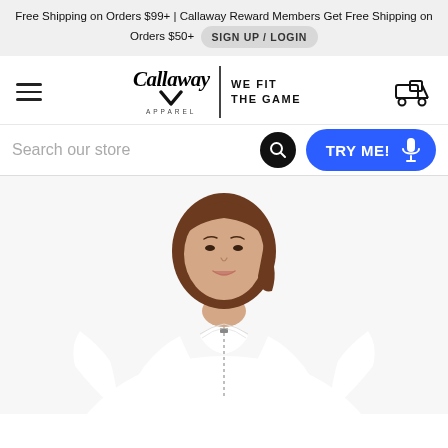Free Shipping on Orders $99+ | Callaway Reward Members Get Free Shipping on Orders $50+  SIGN UP / LOGIN
[Figure (logo): Callaway Apparel logo with hamburger menu on left and golf cart icon on right]
Search our store  TRY ME!
[Figure (photo): Woman wearing white long-sleeve quarter-zip golf pullover, cropped at shoulders]